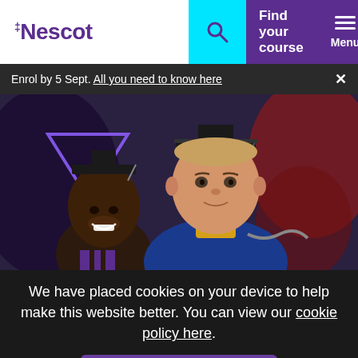Nescot — Find your course — Menu
Enrol by 5 Sept. All you need to know here ✕
[Figure (photo): Two graduates in caps and gowns smiling at a graduation ceremony. A man in blue academic robes is in the foreground, a woman smiling in the background to his left.]
We have placed cookies on your device to help make this website better. You can view our cookie policy here.
Continue using site